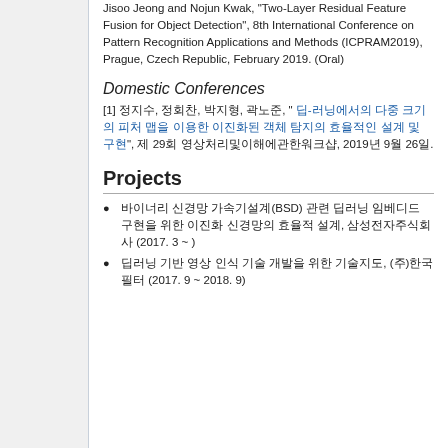Jisoo Jeong and Nojun Kwak, "Two-Layer Residual Feature Fusion for Object Detection", 8th International Conference on Pattern Recognition Applications and Methods (ICPRAM2019), Prague, Czech Republic, February 2019. (Oral)
Domestic Conferences
[1] 정지수, 정회찬, 박지형, 곽노준, " 딥-러닝에서의 다중 크기의 피처 맵을 이용한 이진화된 객체 탐지", 제 29회 영상처리및이해에관한워크샵, 2019년 9월 26일.
Projects
바이너리 신경망 가속기설계(BSD) 관련 딥러닝 임베디드 구현을 위한 이진화 신경망의 효율적 설계, 삼성전자주식회사 (2017. 3 ~ )
딥러닝 기반 영상 인식 기술 개발을 위한 기술지도, (주)한국필터 (2017. 9 ~ 2018. 9)